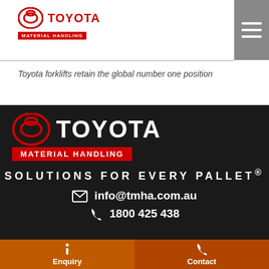[Figure (logo): Toyota Material Handling logo with red oval Toyota symbol and red MATERIAL HANDLING badge]
Toyota forklifts retain the global number one position
[Figure (logo): Large Toyota Material Handling logo on dark background with red oval Toyota symbol and red MATERIAL HANDLING badge]
SOLUTIONS FOR EVERY PALLET®
info@tmha.com.au
1800 425 438
Enquiry
Contact